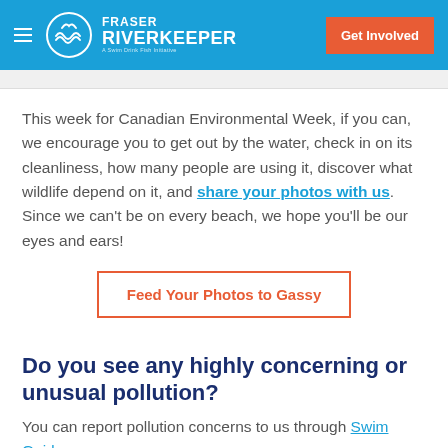Fraser Riverkeeper — Get Involved
This week for Canadian Environmental Week, if you can, we encourage you to get out by the water, check in on its cleanliness, how many people are using it, discover what wildlife depend on it, and share your photos with us. Since we can't be on every beach, we hope you'll be our eyes and ears!
Feed Your Photos to Gassy
Do you see any highly concerning or unusual pollution?
You can report pollution concerns to us through Swim Guide